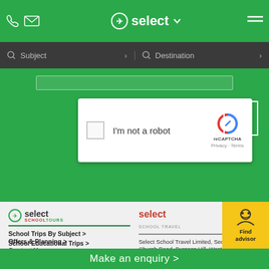select & SCHOOL TOURS — navigation header with phone, email, logo, dropdown, menu icons
[Figure (screenshot): Search bar with Subject and Destination dropdowns on dark background]
[Figure (screenshot): reCAPTCHA widget: checkbox, I'm not a robot text, reCAPTCHA logo, Privacy - Terms links, and arrow submit button on green background]
[Figure (logo): Select School Tours logo (left column footer)]
[Figure (logo): Select School Travel logo (right column footer)]
School Trips By Subject >
School Educational Trips >
Offers & Planning >
Contact Us >
Select School Travel Limited, Second Floor, 30 Church Road, Burgess Hill, West Sussex, RH15 9AE Company Reg. No.0938... No.208830611 © 2022 Select School Tra...
Make an enquiry >